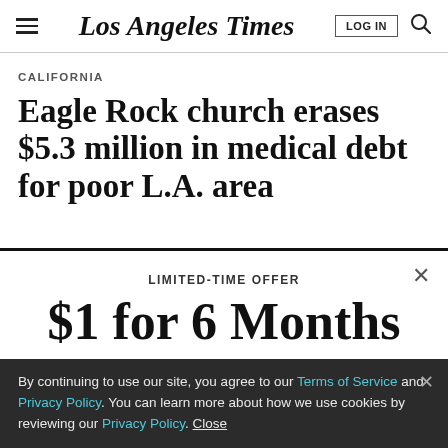Los Angeles Times
CALIFORNIA
Eagle Rock church erases $5.3 million in medical debt for poor L.A. area
LIMITED-TIME OFFER
$1 for 6 Months
SUBSCRIBE NOW
By continuing to use our site, you agree to our Terms of Service and Privacy Policy. You can learn more about how we use cookies by reviewing our Privacy Policy. Close